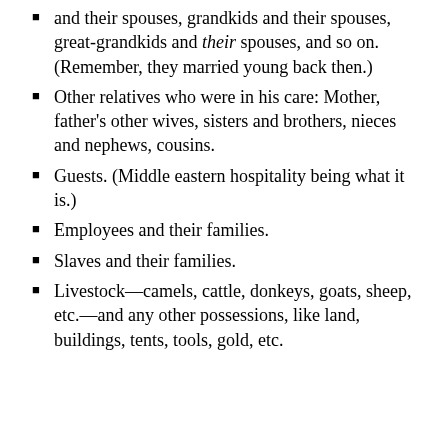and their spouses, grandkids and their spouses, great-grandkids and their spouses, and so on. (Remember, they married young back then.)
Other relatives who were in his care: Mother, father's other wives, sisters and brothers, nieces and nephews, cousins.
Guests. (Middle eastern hospitality being what it is.)
Employees and their families.
Slaves and their families.
Livestock—camels, cattle, donkeys, goats, sheep, etc.—and any other possessions, like land, buildings, tents, tools, gold, etc.